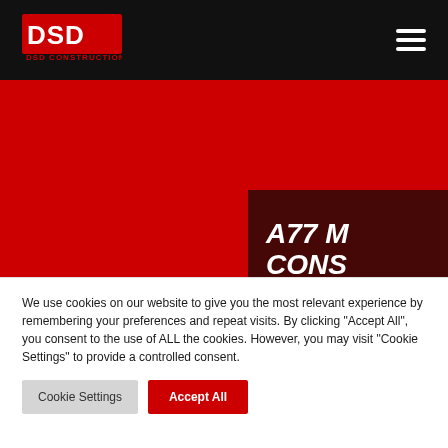[Figure (logo): DSD Construction Ltd red and white logo on black navigation bar with hamburger menu icon]
[Figure (photo): Red hero banner background with dark brownish-red overlay box in the top-right corner containing large white italic bold text 'A77 M... CONS... SOUT...' and a red underline]
We use cookies on our website to give you the most relevant experience by remembering your preferences and repeat visits. By clicking "Accept All", you consent to the use of ALL the cookies. However, you may visit "Cookie Settings" to provide a controlled consent.
Cookie Settings
Accept All